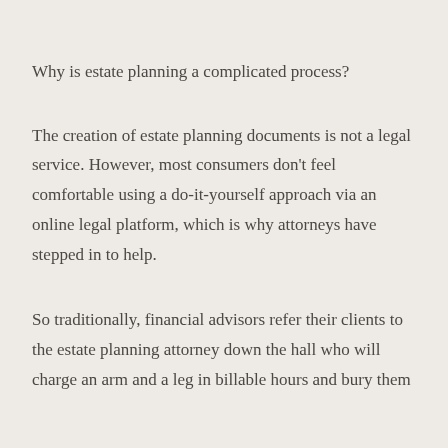Why is estate planning a complicated process?
The creation of estate planning documents is not a legal service. However, most consumers don't feel comfortable using a do-it-yourself approach via an online legal platform, which is why attorneys have stepped in to help.
So traditionally, financial advisors refer their clients to the estate planning attorney down the hall who will charge an arm and a leg in billable hours and bury them